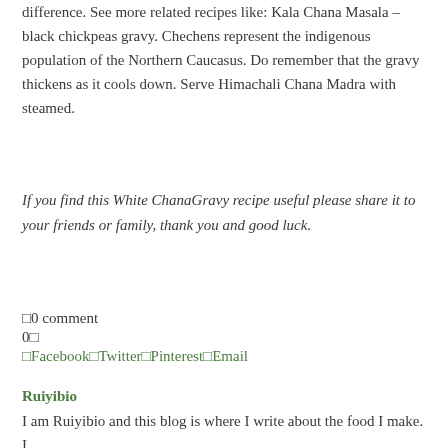difference. See more related recipes like: Kala Chana Masala – black chickpeas gravy. Chechens represent the indigenous population of the Northern Caucasus. Do remember that the gravy thickens as it cools down. Serve Himachali Chana Madra with steamed.
If you find this White ChanaGravy recipe useful please share it to your friends or family, thank you and good luck.
□0 comment
0□
□Facebook□Twitter□Pinterest□Email
Ruiyibio
I am Ruiyibio and this blog is where I write about the food I make. I